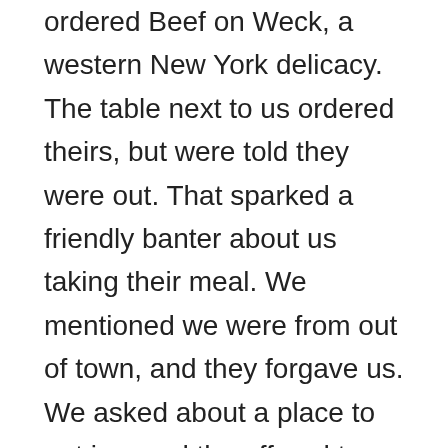ordered Beef on Weck, a western New York delicacy. The table next to us ordered theirs, but were told they were out. That sparked a friendly banter about us taking their meal. We mentioned we were from out of town, and they forgave us. We asked about a place to get ice, and the offered to go get us a bag. They delivered it to us and admired the boat, swapping stories since they were fellow boaters. One of the couples own a marina on the other side of the lift bridge, and the other had traveled the canal several times, so they gave us some tips for the stops ahead. Companionship along the way is always